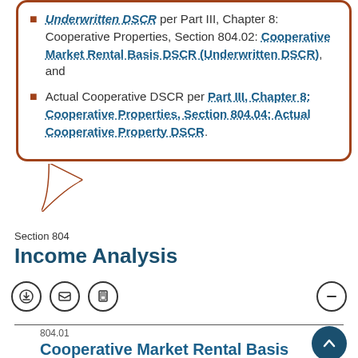Underwritten DSCR per Part III, Chapter 8: Cooperative Properties, Section 804.02: Cooperative Market Rental Basis DSCR (Underwritten DSCR), and
Actual Cooperative DSCR per Part III, Chapter 8: Cooperative Properties, Section 804.04: Actual Cooperative Property DSCR.
Section 804
Income Analysis
804.01
Cooperative Market Rental Basis NCE (Underwritten NCE)